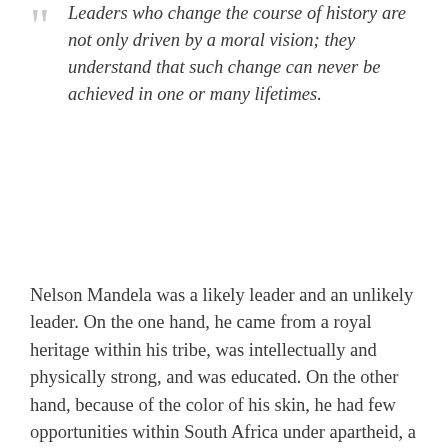Leaders who change the course of history are not only driven by a moral vision; they understand that such change can never be achieved in one or many lifetimes.
Nelson Mandela was a likely leader and an unlikely leader. On the one hand, he came from a royal heritage within his tribe, was intellectually and physically strong, and was educated. On the other hand, because of the color of his skin, he had few opportunities within South Africa under apartheid, a system of political oppression of non-whites considered by many to have been even more pervasive and violent than its counterpart in the United States. In addition, he spent twenty-seven